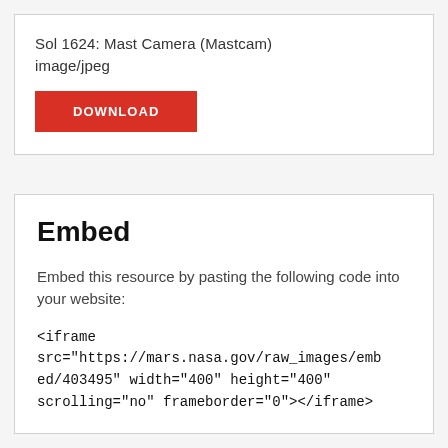Sol 1624: Mast Camera (Mastcam)
image/jpeg
DOWNLOAD
Embed
Embed this resource by pasting the following code into your website:
<iframe src="https://mars.nasa.gov/raw_images/embed/403495" width="400" height="400" scrolling="no" frameborder="0"></iframe>